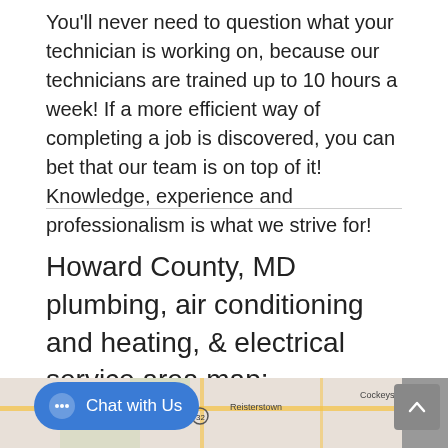You'll never need to question what your technician is working on, because our technicians are trained up to 10 hours a week! If a more efficient way of completing a job is discovered, you can bet that our team is on top of it! Knowledge, experience and professionalism is what we strive for!
Howard County, MD plumbing, air conditioning and heating, & electrical service area map:
[Figure (map): Partial map showing Howard County, MD area with locations including Reisterstown, Cockeysville visible]